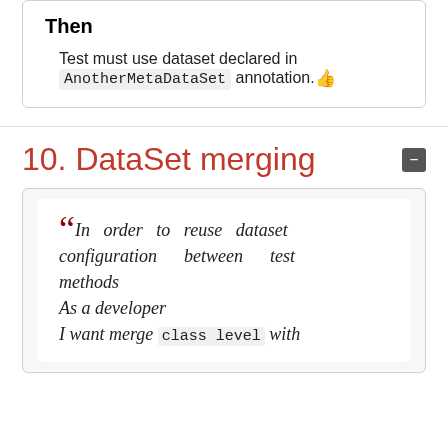Then
Test must use dataset declared in AnotherMetaDataSet annotation. 👍
10. DataSet merging
"In order to reuse dataset configuration between test methods As a developer I want merge class level with